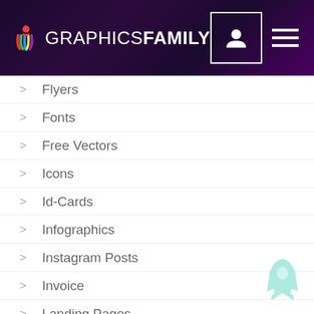GRAPHICS FAMILY
Flyers
Fonts
Free Vectors
Icons
Id-Cards
Infographics
Instagram Posts
Invoice
Landing Pages
Letterhead
Logo Presentation
Logos
Mockups
Bag